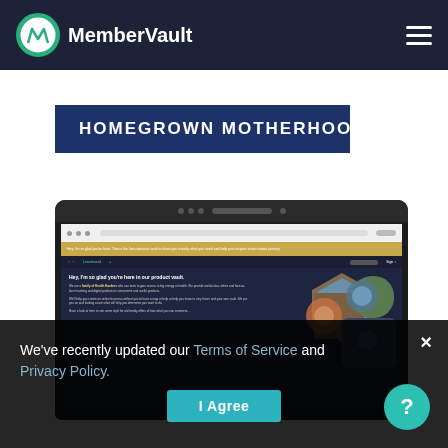MemberVault
HOMEGROWN MOTHERHOOD
[Figure (screenshot): Screenshot of a MemberVault product vault page showing welcome text and a hexagonal photo collage on a dark navy background]
We've recently updated our Terms of Service and Privacy Policy.
I Agree